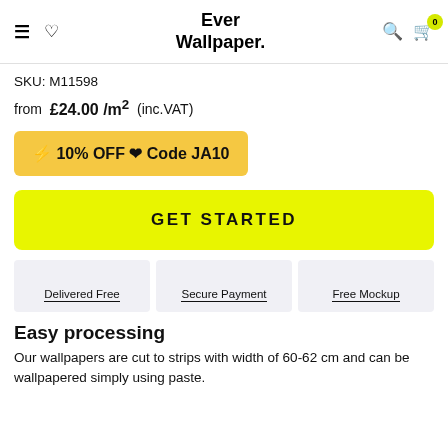Ever Wallpaper. (logo with nav icons)
SKU: M11598
from £24.00 /m² (inc.VAT)
⚡ 10% OFF ♥ Code JA10
GET STARTED
Delivered Free | Secure Payment | Free Mockup
Easy processing
Our wallpapers are cut to strips with width of 60-62 cm and can be wallpapered simply using paste.